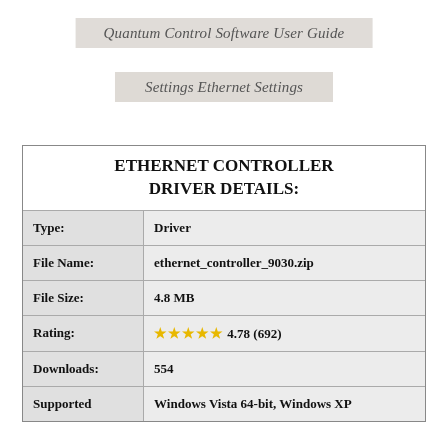Quantum Control Software User Guide
Settings Ethernet Settings
|  |  |
| --- | --- |
| Type: | Driver |
| File Name: | ethernet_controller_9030.zip |
| File Size: | 4.8 MB |
| Rating: | ★★★★★ 4.78 (692) |
| Downloads: | 554 |
| Supported | Windows Vista 64-bit, Windows XP |